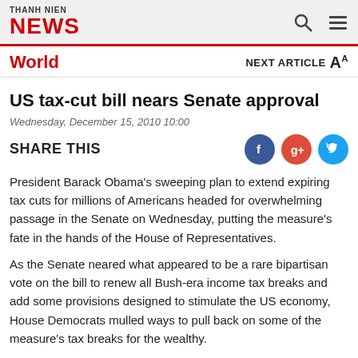THANH NIEN NEWS
World
US tax-cut bill nears Senate approval
Wednesday, December 15, 2010 10:00
SHARE THIS
President Barack Obama's sweeping plan to extend expiring tax cuts for millions of Americans headed for overwhelming passage in the Senate on Wednesday, putting the measure's fate in the hands of the House of Representatives.
As the Senate neared what appeared to be a rare bipartisan vote on the bill to renew all Bush-era income tax breaks and add some provisions designed to stimulate the US economy, House Democrats mulled ways to pull back on some of the measure's tax breaks for the wealthy.
But even liberal House Democrats acknowledged there might not be enough support to significantly alter the legislation brokered by Obama